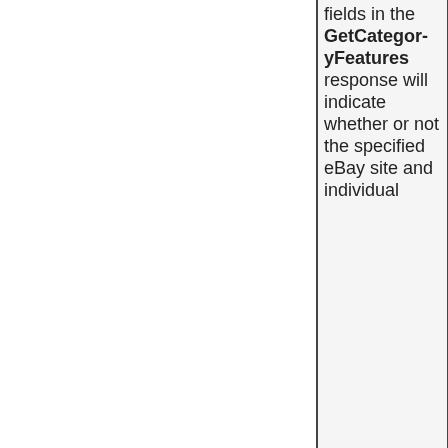fields in the GetCategoryFeatures response will indicate whether or not the specified eBay site and individual